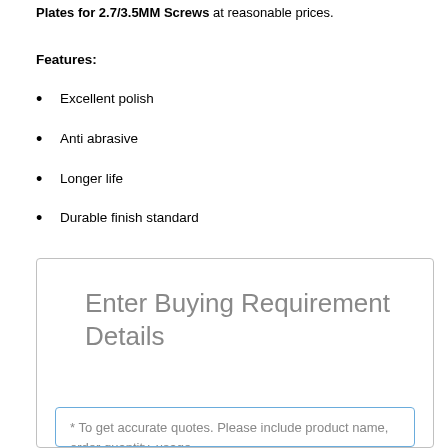Plates for 2.7/3.5MM Screws at reasonable prices.
Features:
Excellent polish
Anti abrasive
Longer life
Durable finish standard
Enter Buying Requirement Details
* To get accurate quotes. Please include product name, order quantity, usage,